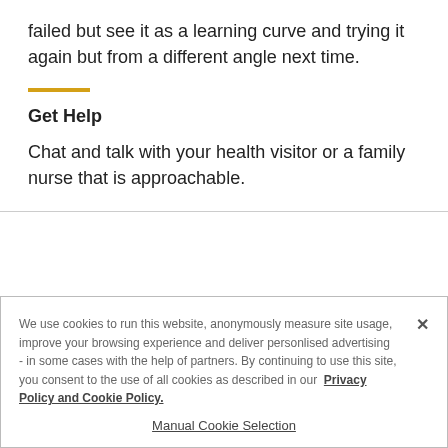failed but see it as a learning curve and trying it again but from a different angle next time.
Get Help
Chat and talk with your health visitor or a family nurse that is approachable.
We use cookies to run this website, anonymously measure site usage, improve your browsing experience and deliver personlised advertising - in some cases with the help of partners. By continuing to use this site, you consent to the use of all cookies as described in our Privacy Policy and Cookie Policy.
Manual Cookie Selection